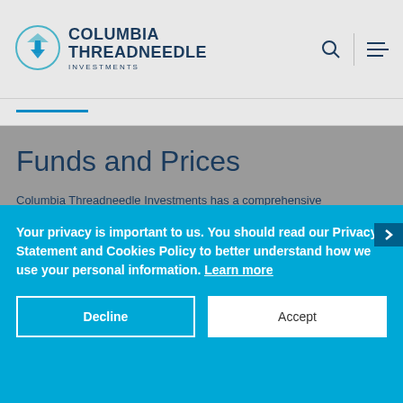[Figure (logo): Columbia Threadneedle Investments logo with teal arrow icon and text]
Funds and Prices
Columbia Threadneedle Investments has a comprehensive range of investment funds catering for a broad range of objectives.
Your privacy is important to us. You should read our Privacy Statement and Cookies Policy to better understand how we use your personal information. Learn more
Decline
Accept